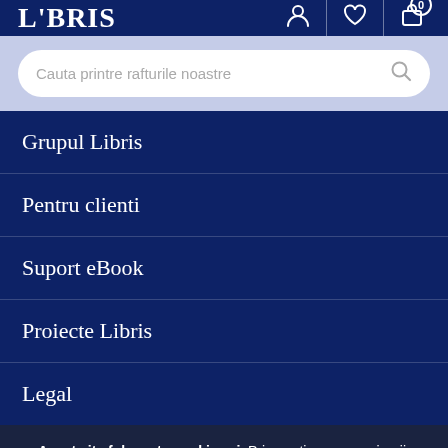LIBRIS
Cauta printre rafturile noastre
Grupul Libris
Pentru clienti
Suport eBook
Proiecte Libris
Legal
Acest site foloseste cookie-uri. Prin continuarea navigarii, sunteti de acord cu utilizarea lor. Politica Cookie. Protectia Datelor. Accepta